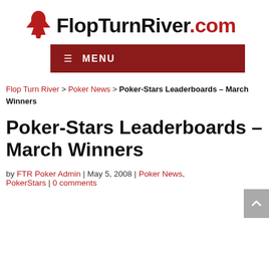FlopTurnRiver.com
≡ MENU
Flop Turn River > Poker News > Poker-Stars Leaderboards – March Winners
Poker-Stars Leaderboards – March Winners
by FTR Poker Admin | May 5, 2008 | Poker News, PokerStars | 0 comments